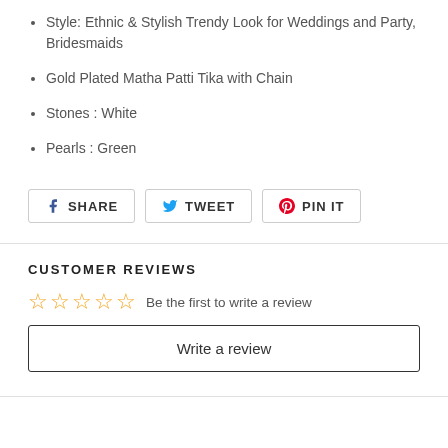Style: Ethnic & Stylish Trendy Look for Weddings and Party, Bridesmaids
Gold Plated Matha Patti Tika with Chain
Stones : White
Pearls : Green
SHARE   TWEET   PIN IT
CUSTOMER REVIEWS
Be the first to write a review
Write a review